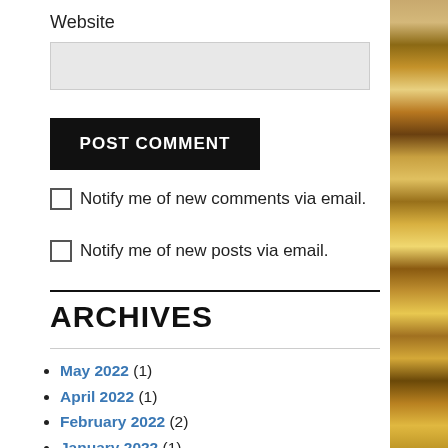Website
POST COMMENT
Notify me of new comments via email.
Notify me of new posts via email.
ARCHIVES
May 2022 (1)
April 2022 (1)
February 2022 (2)
January 2022 (1)
November 2021 (1)
April 2021 (1)
February 2021 (1)
December 2020 (1)